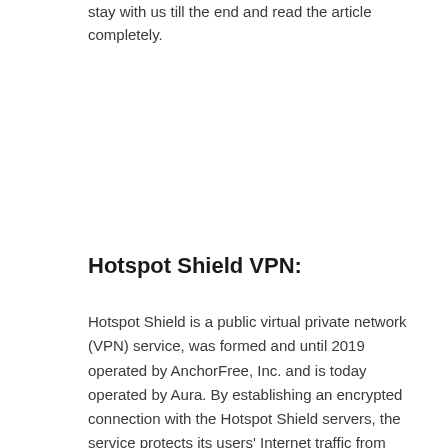stay with us till the end and read the article completely.
Hotspot Shield VPN:
Hotspot Shield is a public virtual private network (VPN) service, was formed and until 2019 operated by AnchorFree, Inc. and is today operated by Aura. By establishing an encrypted connection with the Hotspot Shield servers, the service protects its users' Internet traffic from eavesdropping.